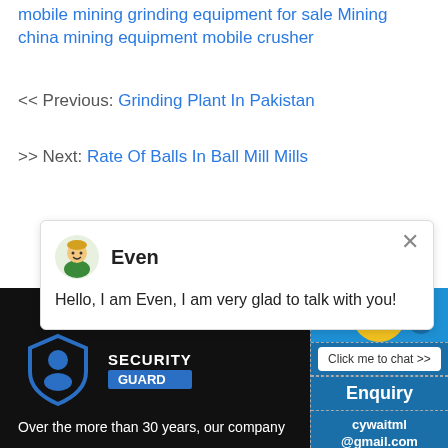mobile mining grinding equipment for sale Mining china mining equipment mobile crusher
<< Previous: Grinding Plant In Pakistan
>> Next: Rate Of Balls In Ball Mill Mills
[Figure (screenshot): Chat widget with avatar of Even and message: Hello, I am Even, I am very glad to talk with you!]
[Figure (infographic): Dark footer with Security Guard logo on left and chat/enquiry panel on right with smiley face, notification badge, Click me to chat button, Enquiry link, and cywaitml@gmail.com email]
Over the more than 30 years, our company